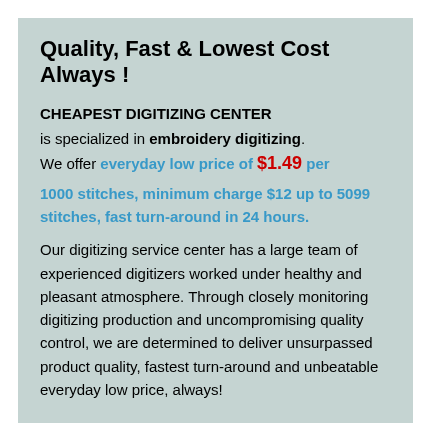Quality, Fast & Lowest Cost Always !
CHEAPEST DIGITIZING CENTER
is specialized in embroidery digitizing. We offer everyday low price of $1.49 per 1000 stitches, minimum charge $12 up to 5099 stitches, fast turn-around in 24 hours.
Our digitizing service center has a large team of experienced digitizers worked under healthy and pleasant atmosphere. Through closely monitoring digitizing production and uncompromising quality control, we are determined to deliver unsurpassed product quality, fastest turn-around and unbeatable everyday low price, always!